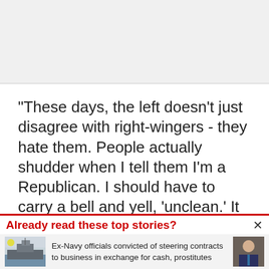[Figure (other): Gray placeholder area at top of page]
“These days, the left doesn’t just disagree with right-wingers - they hate them. People actually shudder when I tell them I’m a Republican. I should have to carry a bell and yell, ‘unclean.’ It doesn’t bother me, though. I’ve been on both ends. Being hated is like
Already read these top stories?
[Figure (photo): Photo of a navy warship]
Ex-Navy officials convicted of steering contracts to business in exchange for cash, prostitutes
[Figure (photo): Photo of a person in a suit]